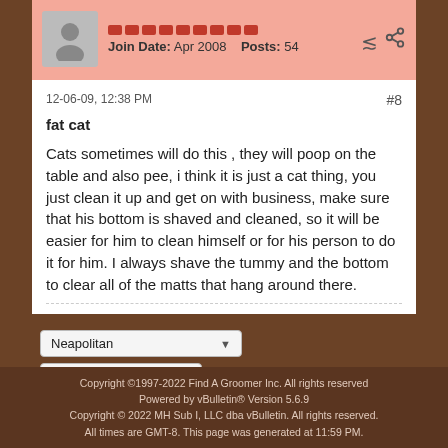[Figure (other): User avatar placeholder (gray silhouette) with pink pip row showing join date and post count]
Join Date: Apr 2008    Posts: 54
12-06-09, 12:38 PM    #8
fat cat
Cats sometimes will do this , they will poop on the table and also pee, i think it is just a cat thing, you just clean it up and get on with business, make sure that his bottom is shaved and cleaned, so it will be easier for him to clean himself or for his person to do it for him. I always shave the tummy and the bottom to clear all of the matts that hang around there.
Neapolitan
English (US)
Go to...
Copyright ©1997-2022 Find A Groomer Inc. All rights reserved
Powered by vBulletin® Version 5.6.9
Copyright © 2022 MH Sub I, LLC dba vBulletin. All rights reserved.
All times are GMT-8. This page was generated at 11:59 PM.